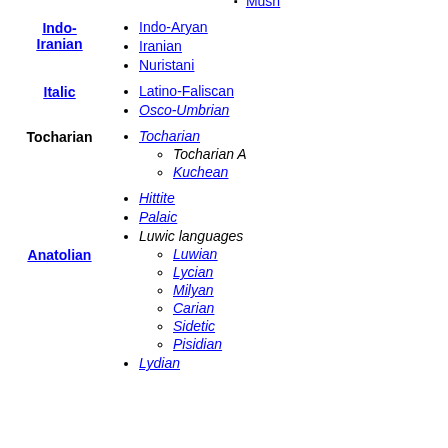Homhetsi
Karin
Mush
Indo-Iranian
Indo-Aryan
Iranian
Nuristani
Italic
Latino-Faliscan
Osco-Umbrian
Tocharian
Tocharian (link)
Tocharian A
Kuchean
Anatolian
Hittite
Palaic
Luwic languages
Luwian
Lycian
Milyan
Carian
Sidetic
Pisidian
Lydian